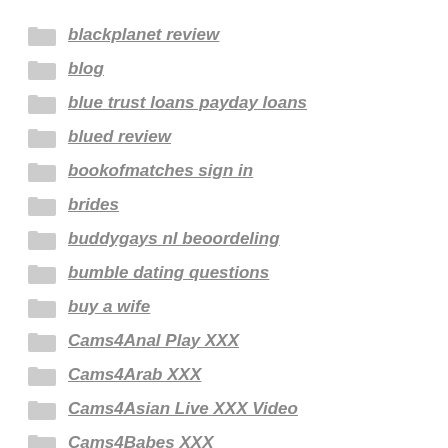blackplanet review
blog
blue trust loans payday loans
blued review
bookofmatches sign in
brides
buddygays nl beoordeling
bumble dating questions
buy a wife
Cams4Anal Play XXX
Cams4Arab XXX
Cams4Asian Live XXX Video
Cams4Babes XXX